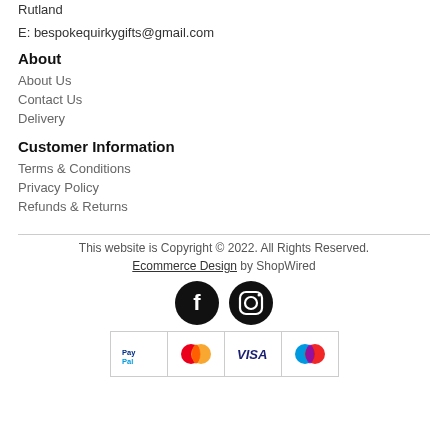Rutland
E: bespokequirkygifts@gmail.com
About
About Us
Contact Us
Delivery
Customer Information
Terms & Conditions
Privacy Policy
Refunds & Returns
This website is Copyright © 2022. All Rights Reserved. Ecommerce Design by ShopWired
[Figure (logo): Facebook and Instagram social media icons (black circles with white logos)]
[Figure (logo): Payment method icons: PayPal, Mastercard, Visa, Maestro]